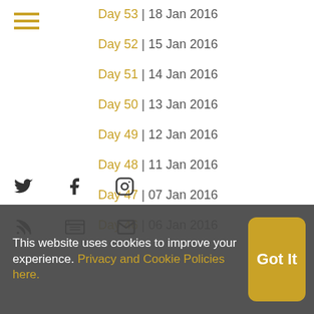Day 53 | 18 Jan 2016
Day 52 | 15 Jan 2016
Day 51 | 14 Jan 2016
Day 50 | 13 Jan 2016
Day 49 | 12 Jan 2016
Day 48 | 11 Jan 2016
Day 47 | 07 Jan 2016
Day 46 | 06 Jan 2016
This website uses cookies to improve your experience. Privacy and Cookie Policies here.
Got It